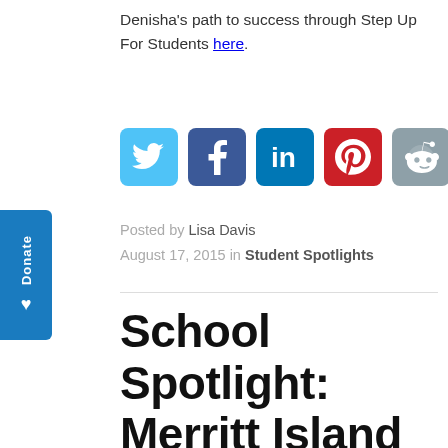Denisha's path to success through Step Up For Students here.
[Figure (infographic): Row of six social media sharing buttons: Twitter (blue bird), Facebook (dark blue f), LinkedIn (blue 'in'), Pinterest (red P), Reddit (grey alien), and a green share icon.]
Posted by Lisa Davis
August 17, 2015 in Student Spotlights
School Spotlight: Merritt Island Christian School